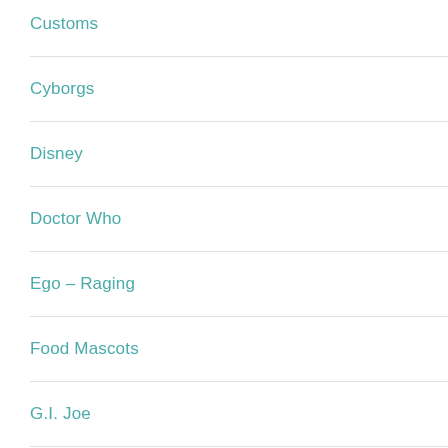Customs
Cyborgs
Disney
Doctor Who
Ego – Raging
Food Mascots
G.I. Joe
Glyos
He-Man/She-Ra
He-Man/She-Ra – Heroes